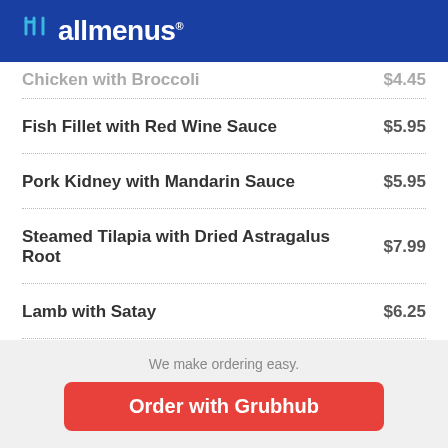allmenus
Chicken with Broccoli  $4.45
Fish Fillet with Red Wine Sauce  $5.95
Pork Kidney with Mandarin Sauce  $5.95
Steamed Tilapia with Dried Astragalus Root  $7.99
Lamb with Satay  $6.25
Kung Pao Beef  $5.95
We make ordering easy.
Order with Grubhub